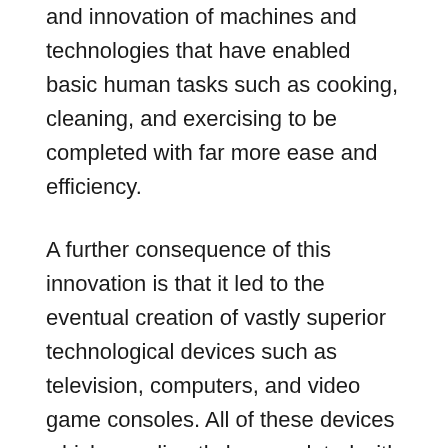and innovation of machines and technologies that have enabled basic human tasks such as cooking, cleaning, and exercising to be completed with far more ease and efficiency.
A further consequence of this innovation is that it led to the eventual creation of vastly superior technological devices such as television, computers, and video game consoles. All of these devices which can directly be correlated with the negative health consequences, the same consequences that arise from not spending time outdoors or being active overall. The use and overuse of these devices has chronicled numerous health problems including